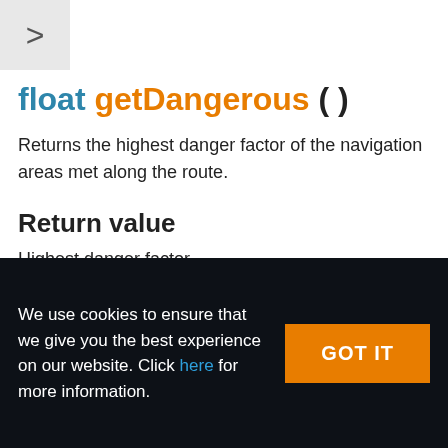float getDangerous ( )
Returns the highest danger factor of the navigation areas met along the route.
Return value
Highest danger factor
We use cookies to ensure that we give you the best experience on our website. Click here for more information.